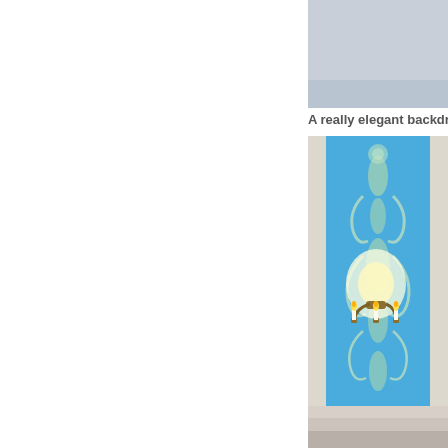[Figure (photo): Partial view of a room photo at the top right corner, showing a light-colored background]
A really elegant backdrop to
[Figure (photo): Interior room photo showing a blue damask-patterned wall panel with ornate cream/gold baroque stencil designs, and a brass wall sconce with three lit candles mounted on the blue wallpapered panel. White wainscoting visible on the sides and bottom.]